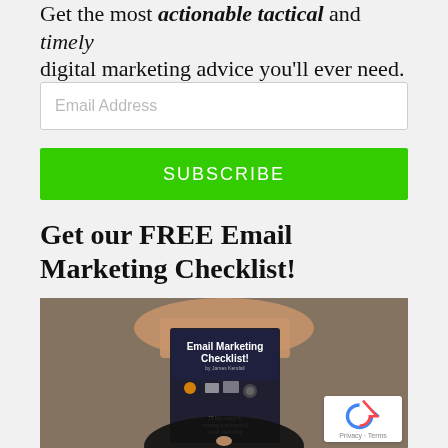Get the most actionable tactical and timely digital marketing advice you'll ever need.
[Figure (screenshot): Email address input field with placeholder text 'Email Address']
[Figure (screenshot): Green SUBSCRIBE button]
Get our FREE Email Marketing Checklist!
[Figure (photo): Person holding an Email Marketing Checklist booklet with marketing icons and text '15 key steps to running a successful email marketing']